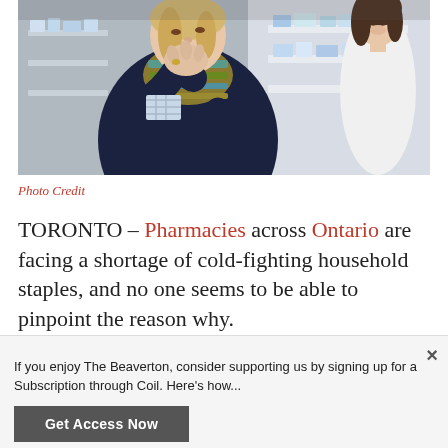[Figure (photo): A woman coughing into her hand at a pharmacy, wearing a dark jacket and striped scarf; a pharmacist in a white coat is visible in the background with pharmacy shelves.]
Photo Credit
TORONTO – Pharmacies across Ontario are facing a shortage of cold-fighting household staples, and no one seems to be able to pinpoint the reason why.
If you enjoy The Beaverton, consider supporting us by signing up for a Subscription through Coil. Here's how...
Get Access Now